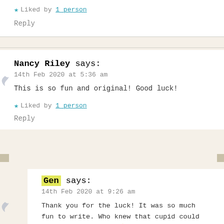Liked by 1 person
Reply
Nancy Riley says:
14th Feb 2020 at 5:36 am
This is so fun and original! Good luck!
Liked by 1 person
Reply
Gen says:
14th Feb 2020 at 9:26 am
Thank you for the luck! It was so much fun to write. Who knew that cupid could be such a MENACE?! 😄